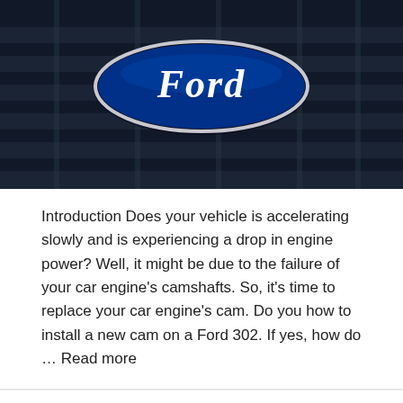[Figure (photo): Close-up photo of a Ford logo (blue oval badge) on a dark vehicle grille]
Introduction Does your vehicle is accelerating slowly and is experiencing a drop in engine power? Well, it might be due to the failure of your car engine's camshafts. So, it's time to replace your car engine's cam. Do you how to install a new cam on a Ford 302. If yes, how do … Read more
8 Top Reasons To Spend Money On Volkswagen SUV!